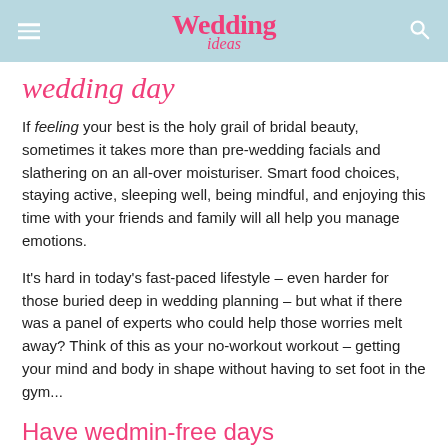Wedding ideas
wedding day
If feeling your best is the holy grail of bridal beauty, sometimes it takes more than pre-wedding facials and slathering on an all-over moisturiser. Smart food choices, staying active, sleeping well, being mindful, and enjoying this time with your friends and family will all help you manage emotions.
It's hard in today's fast-paced lifestyle – even harder for those buried deep in wedding planning – but what if there was a panel of experts who could help those worries melt away? Think of this as your no-workout workout – getting your mind and body in shape without having to set foot in the gym...
Have wedmin-free days